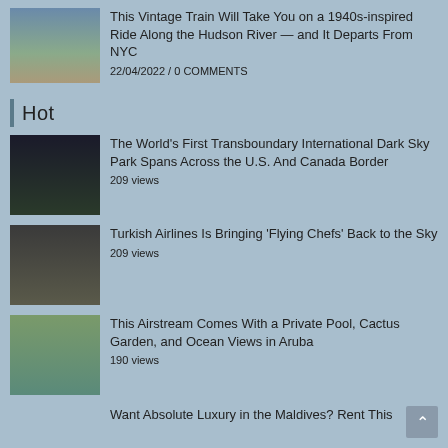[Figure (photo): Train running along Hudson River shoreline]
This Vintage Train Will Take You on a 1940s-inspired Ride Along the Hudson River — and It Departs From NYC
22/04/2022 / 0 COMMENTS
Hot
[Figure (photo): Dark sky with stars visible through silhouette of trees]
The World's First Transboundary International Dark Sky Park Spans Across the U.S. And Canada Border
209 views
[Figure (photo): Turkish Airlines airplane interior dining setup]
Turkish Airlines Is Bringing 'Flying Chefs' Back to the Sky
209 views
[Figure (photo): Airstream with private pool, cactus garden in Aruba]
This Airstream Comes With a Private Pool, Cactus Garden, and Ocean Views in Aruba
190 views
Want Absolute Luxury in the Maldives? Rent This